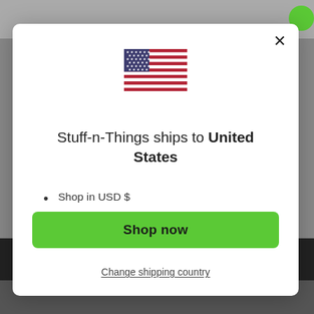[Figure (screenshot): US flag emoji / SVG flag icon centered in modal]
Stuff-n-Things ships to United States
Shop in USD $
Get shipping options for United States
Shop now
Change shipping country